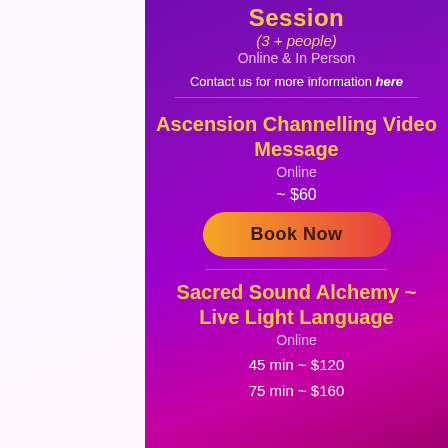Session
(3 + people)
Online & In Person
Contact us for more information here
Ascension Channelling Video Message
Online
~ $60
Book Now
Sacred Sound Alchemy ~ Live Light Language
Online
45 min ~ $120
75 min ~ $160